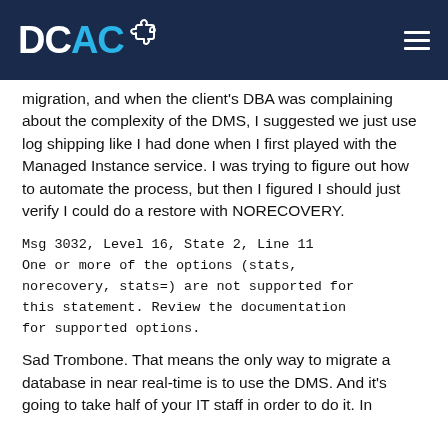DCAC
migration, and when the client's DBA was complaining about the complexity of the DMS, I suggested we just use log shipping like I had done when I first played with the Managed Instance service. I was trying to figure out how to automate the process, but then I figured I should just verify I could do a restore with NORECOVERY.
Msg 3032, Level 16, State 2, Line 11
One or more of the options (stats,
norecovery, stats=) are not supported for
this statement. Review the documentation
for supported options.
Sad Trombone. That means the only way to migrate a database in near real-time is to use the DMS. And it's going to take half of your IT staff in order to do it. In